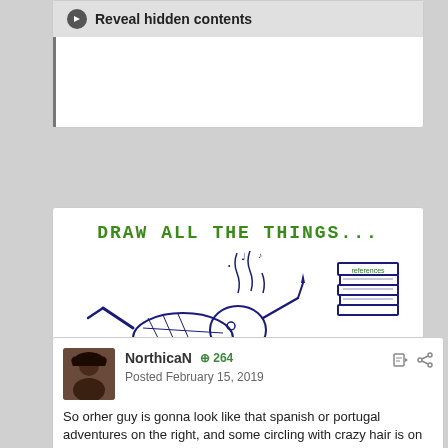Reveal hidden contents
[Figure (illustration): Cartoon drawing of a character lying face-down frantically drawing/writing, with music notes and steam rising, holding a pencil, with a stack of references books nearby. Text at top reads 'DRAW ALL THE THINGS...' in green.]
2
NorthicaN  264
Posted February 15, 2019
So orher guy is gonna look like that spanish or portugal adventures on the right, and some circling with crazy hair is on